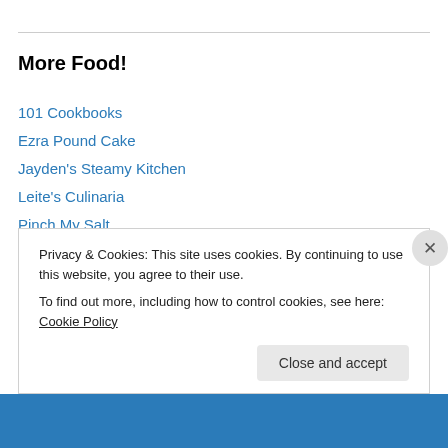More Food!
101 Cookbooks
Ezra Pound Cake
Jayden's Steamy Kitchen
Leite's Culinaria
Pinch My Salt
Sam the Cooking Guy
Serious Eats
Smitten Kitchen
The Pioneer Woman
Privacy & Cookies: This site uses cookies. By continuing to use this website, you agree to their use. To find out more, including how to control cookies, see here: Cookie Policy
Close and accept